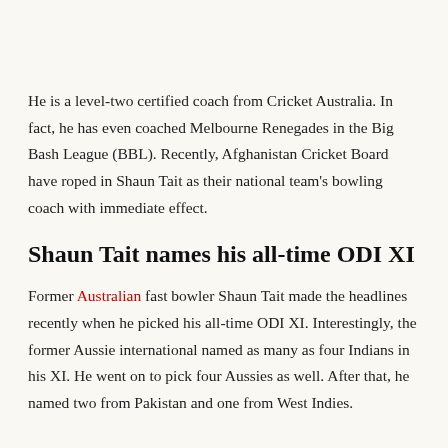He is a level-two certified coach from Cricket Australia. In fact, he has even coached Melbourne Renegades in the Big Bash League (BBL). Recently, Afghanistan Cricket Board have roped in Shaun Tait as their national team's bowling coach with immediate effect.
Shaun Tait names his all-time ODI XI
Former Australian fast bowler Shaun Tait made the headlines recently when he picked his all-time ODI XI. Interestingly, the former Aussie international named as many as four Indians in his XI. He went on to pick four Aussies as well. After that, he named two from Pakistan and one from West Indies.